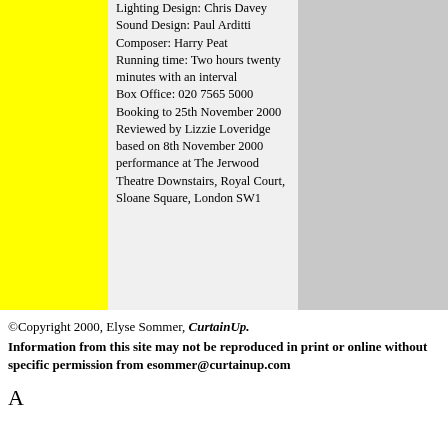Lighting Design: Chris Davey
Sound Design: Paul Arditti
Composer: Harry Peat
Running time: Two hours twenty minutes with an interval
Box Office: 020 7565 5000
Booking to 25th November 2000
Reviewed by Lizzie Loveridge based on 8th November 2000 performance at The Jerwood Theatre Downstairs, Royal Court, Sloane Square, London SW1
©Copyright 2000, Elyse Sommer, CurtainUp.
Information from this site may not be reproduced in print or online without specific permission from esommer@curtainup.com
A